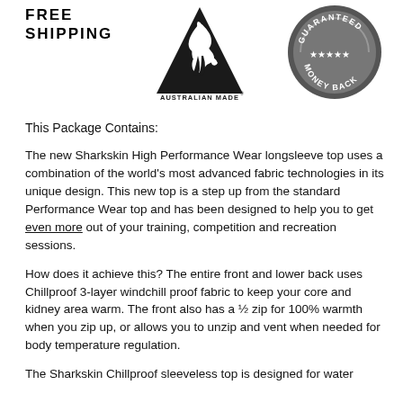[Figure (logo): FREE SHIPPING text in bold spaced capitals on left side of header]
[Figure (logo): Australian Made kangaroo logo — black triangle with kangaroo silhouette, text AUSTRALIAN MADE below]
[Figure (logo): Guaranteed Money Back circular badge — dark grey circle with stars and text GUARANTEED MONEY BACK]
This Package Contains:
The new Sharkskin High Performance Wear longsleeve top uses a combination of the world's most advanced fabric technologies in its unique design. This new top is a step up from the standard Performance Wear top and has been designed to help you to get even more out of your training, competition and recreation sessions.
How does it achieve this? The entire front and lower back uses Chillproof 3-layer windchill proof fabric to keep your core and kidney area warm. The front also has a ½ zip for 100% warmth when you zip up, or allows you to unzip and vent when needed for body temperature regulation.
The Sharkskin Chillproof sleeveless top is designed for water